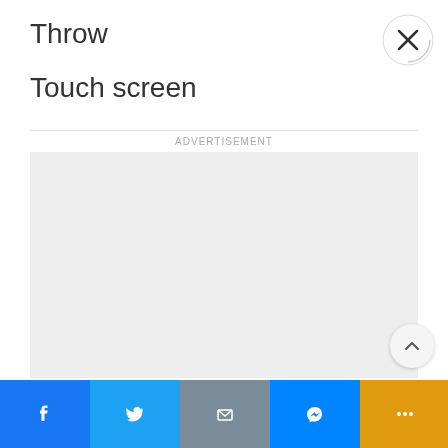Throw
Touch screen
ADVERTISEMENT
[Figure (other): Gray advertisement placeholder box]
NEXT ARTICLE >